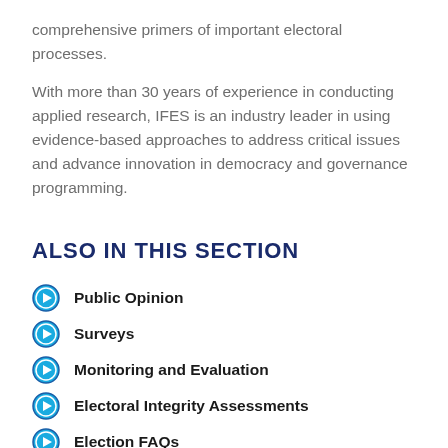comprehensive primers of important electoral processes.
With more than 30 years of experience in conducting applied research, IFES is an industry leader in using evidence-based approaches to address critical issues and advance innovation in democracy and governance programming.
ALSO IN THIS SECTION
Public Opinion
Surveys
Monitoring and Evaluation
Electoral Integrity Assessments
Election FAQs